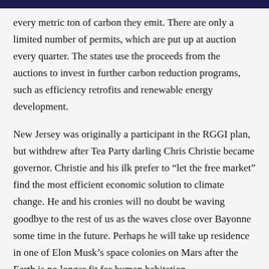every metric ton of carbon they emit. There are only a limited number of permits, which are put up at auction every quarter. The states use the proceeds from the auctions to invest in further carbon reduction programs, such as efficiency retrofits and renewable energy development.
New Jersey was originally a participant in the RGGI plan, but withdrew after Tea Party darling Chris Christie became governor. Christie and his ilk prefer to “let the free market” find the most efficient economic solution to climate change. He and his cronies will no doubt be waving goodbye to the rest of us as the waves close over Bayonne some time in the future. Perhaps he will take up residence in one of Elon Musk’s space colonies on Mars after the Earth is no longer fit for human habitation.